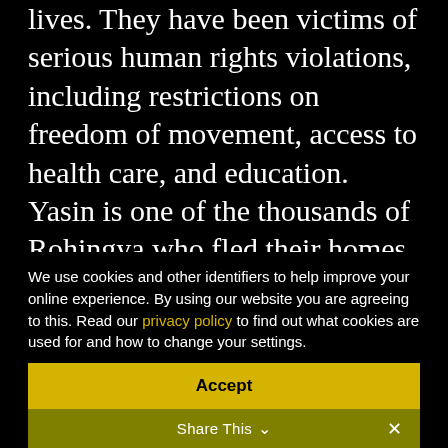lives. They have been victims of serious human rights violations, including restrictions on freedom of movement, access to health care, and education. Yasin is one of the thousands of Rohingya who fled their homes in the northern part of Rakhine State to seek safety abroad. Yasin's parents and younger sister drowned whilst trying to reach Malaysia on an overcrowded trawler.
We use cookies and other identifiers to help improve your online experience. By using our website you are agreeing to this. Read our privacy policy to find out what cookies are used for and how to change your settings.
Accept
Share This